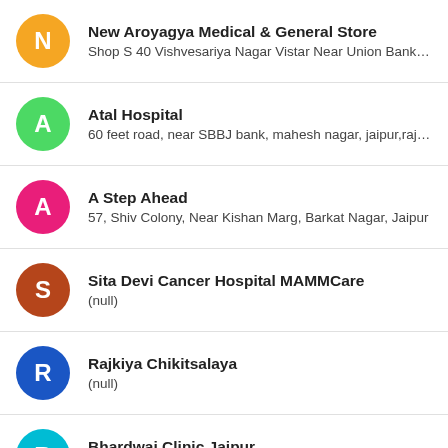New Aroyagya Medical & General Store
Shop S 40 Vishvesariya Nagar Vistar Near Union Bank Ti...
Atal Hospital
60 feet road, near SBBJ bank, mahesh nagar, jaipur,rajast...
A Step Ahead
57, Shiv Colony, Near Kishan Marg, Barkat Nagar, Jaipur
Sita Devi Cancer Hospital MAMMCare
(null)
Rajkiya Chikitsalaya
(null)
Bhardwaj Clinic Jaipur
...